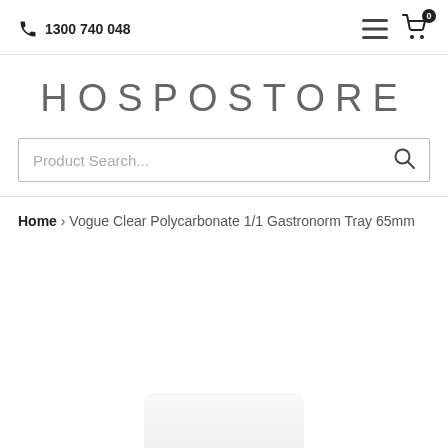1300 740 048
HOSPOSTORE
Product Search...
Home › Vogue Clear Polycarbonate 1/1 Gastronorm Tray 65mm
[Figure (photo): Partial view of a clear polycarbonate Gastronorm tray at the bottom of the page]